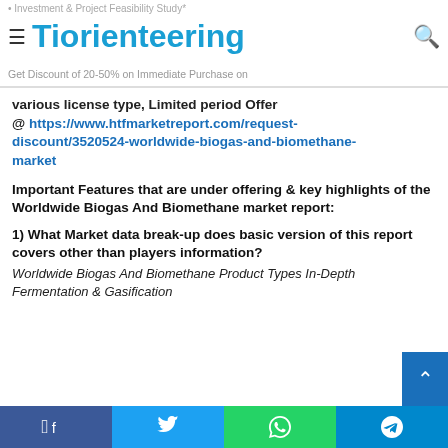Tiorienteering
Get Discount of 20-50% on Immediate Purchase on various license type, Limited period Offer @ https://www.htfmarketreport.com/request-discount/3520524-worldwide-biogas-and-biomethane-market
Important Features that are under offering & key highlights of the Worldwide Biogas And Biomethane market report:
1) What Market data break-up does basic version of this report covers other than players information?
Worldwide Biogas And Biomethane Product Types In-Depth Fermentation & Gasification